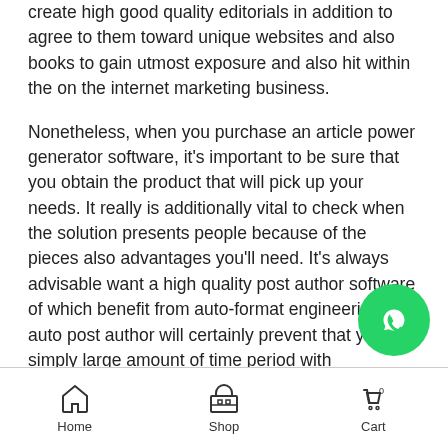create high good quality editorials in addition to agree to them toward unique websites and also books to gain utmost exposure and also hit within the on the internet marketing business.
Nonetheless, when you purchase an article power generator software, it's important to be sure that you obtain the product that will pick up your needs. It really is additionally vital to check when the solution presents people because of the pieces also advantages you'll need. It's always advisable want a high quality post author software of which benefit from auto-format engineering. The auto post author will certainly prevent that you simply large amount of time period with constructing large excellent content material.
[Figure (other): WhatsApp floating action button (green circle with WhatsApp phone icon)]
Home  Shop  Cart 0